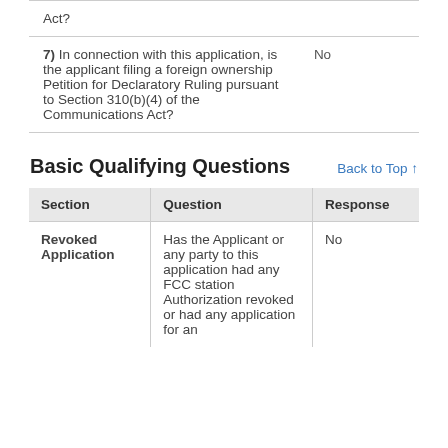| Question | Response |
| --- | --- |
| Act? |  |
| 7) In connection with this application, is the applicant filing a foreign ownership Petition for Declaratory Ruling pursuant to Section 310(b)(4) of the Communications Act? | No |
Basic Qualifying Questions
Back to Top ↑
| Section | Question | Response |
| --- | --- | --- |
| Revoked Application | Has the Applicant or any party to this application had any FCC station Authorization revoked or had any application for an | No |